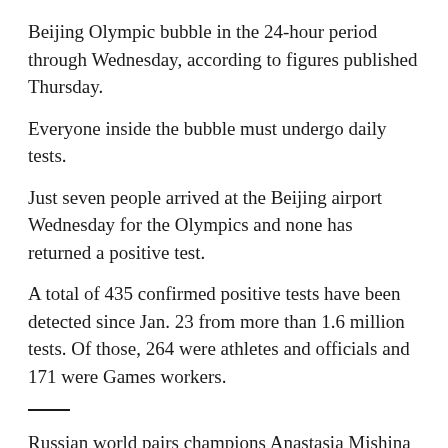Beijing Olympic bubble in the 24-hour period through Wednesday, according to figures published Thursday.
Everyone inside the bubble must undergo daily tests.
Just seven people arrived at the Beijing airport Wednesday for the Olympics and none has returned a positive test.
A total of 435 confirmed positive tests have been detected since Jan. 23 from more than 1.6 million tests. Of those, 264 were athletes and officials and 171 were Games workers.
Russian world pairs champions Anastasia Mishina and Aleksandr Galliamov drew the most favorable position, first in the final group, for the short program to start their event Friday night at Capital Indoor Stadium.
The pairs competition, which concludes with Saturday night's free skate, is the final discipline at the Beijing